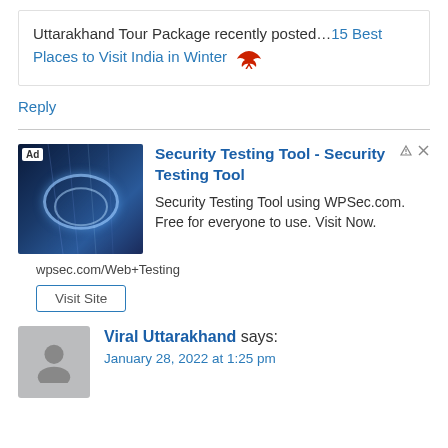Uttarakhand Tour Package recently posted…15 Best Places to Visit India in Winter 🦅
Reply
[Figure (infographic): Advertisement block: Security Testing Tool. Shows an ad image with ring/light effect on dark blue background with 'Ad' badge. Title: Security Testing Tool - Security Testing Tool. Description: Security Testing Tool using WPSec.com. Free for everyone to use. Visit Now. URL: wpsec.com/Web+Testing. Button: Visit Site.]
Viral Uttarakhand says: January 28, 2022 at 1:25 pm